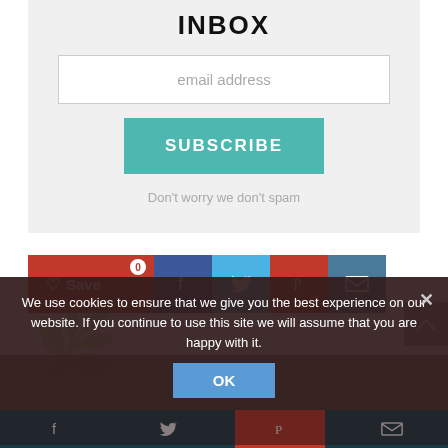INBOX
email address
SUBSCRIBE
Don't worry we don't spam
[Figure (infographic): Social sharing buttons row: Save (heart icon, red, 0 count), Facebook (blue), Twitter (light blue), Pinterest (red), Email (teal)]
[Figure (infographic): Scroll-to-top arrow button (grey)]
We use cookies to ensure that we give you the best experience on our website. If you continue to use this site we will assume that you are happy with it.
OK
[Figure (logo): Tree/plant logo watermark in blue-grey]
Facebook | Twitter | Pinterest | Email icons